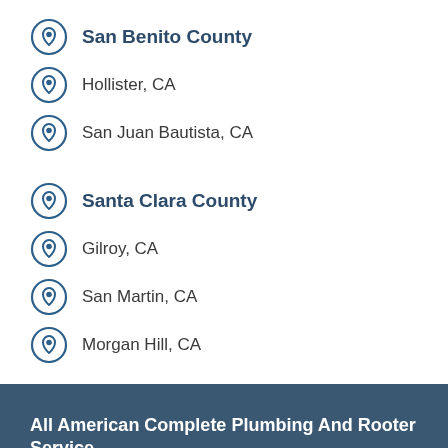San Benito County
Hollister, CA
San Juan Bautista, CA
Santa Clara County
Gilroy, CA
San Martin, CA
Morgan Hill, CA
All American Complete Plumbing And Rooter Service
(831) 316-2465